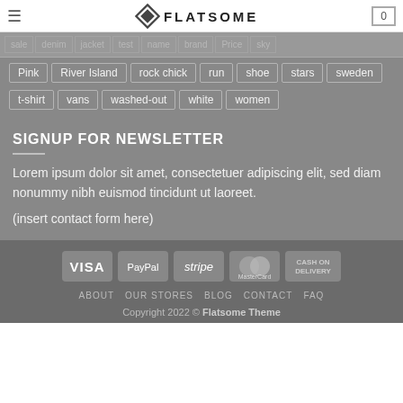FLATSOME
Pink | River Island | rock chick | run | shoe | stars | sweden
t-shirt | vans | washed-out | white | women
SIGNUP FOR NEWSLETTER
Lorem ipsum dolor sit amet, consectetuer adipiscing elit, sed diam nonummy nibh euismod tincidunt ut laoreet.
(insert contact form here)
[Figure (infographic): Payment method badges: VISA, PayPal, stripe, MasterCard, CASH ON DELIVERY]
ABOUT  OUR STORES  BLOG  CONTACT  FAQ
Copyright 2022 © Flatsome Theme